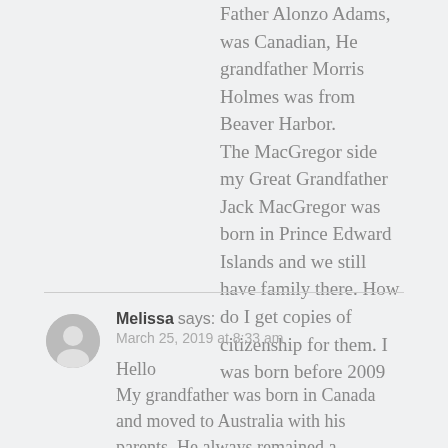Father Alonzo Adams, was Canadian, He grandfather Morris Holmes was from Beaver Harbor. The MacGregor side my Great Grandfather Jack MacGregor was born in Prince Edward Islands and we still have family there. How do I get copies of citizenship for them. I was born before 2009
Melissa says:
March 25, 2019 at 8:33 am

Hello
My grandfather was born in Canada and moved to Australia with his parents. He always remained a Canadian Citizen